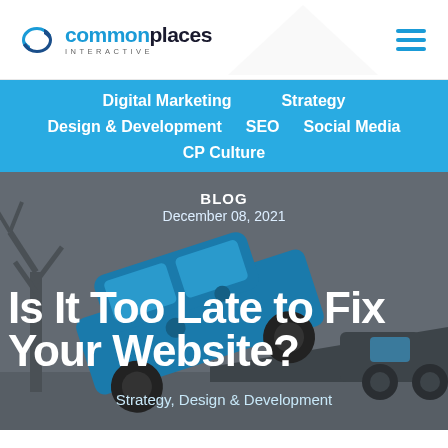commonplaces INTERACTIVE
Digital Marketing
Strategy
Design & Development
SEO
Social Media
CP Culture
[Figure (illustration): Illustrated scene of a tow truck lifting a damaged vehicle, with bare trees in background, on a dark grey background]
BLOG
December 08, 2021
Is It Too Late to Fix Your Website?
Strategy, Design & Development